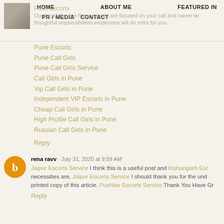HOME   ABOUT ME   FEATURED IN   PR / MEDIA   CONTACT
Our top-of-the-line Pune escorts are focused on your call and career with thoughtful responsibilities employees will do extra for you.
Pune Escorts
Pune Escorts
Pune Call Girls
Pune Call Girls Service
Call Girls in Pune
Vip Call Girls in Pune
Independent VIP Escorts in Pune
Cheap Call Girls in Pune
High Profile Call Girls in Pune
Russian Call Girls in Pune
Reply
rena ravv · July 31, 2020 at 9:59 AM
Jaipur Escorts Service I think this is a useful post and Kishangarh Esc necessities are, Jaipur Escorts Service I should thank you for the und printed copy of this article. Pushkar Escorts Service Thank You Have Gr
Reply